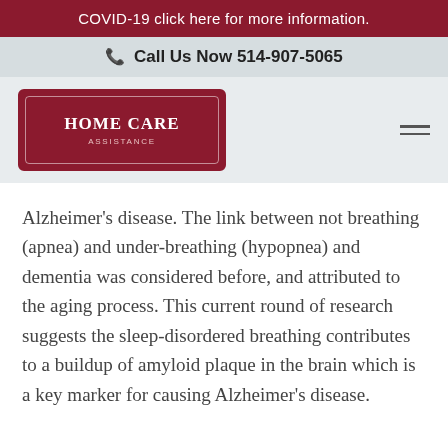COVID-19 click here for more information.
Call Us Now 514-907-5065
[Figure (logo): Home Care Assistance logo — dark red badge shape with white text reading HOME CARE ASSISTANCE]
Alzheimer’s disease. The link between not breathing (apnea) and under-breathing (hypopnea) and dementia was considered before, and attributed to the aging process. This current round of research suggests the sleep-disordered breathing contributes to a buildup of amyloid plaque in the brain which is a key marker for causing Alzheimer’s disease.